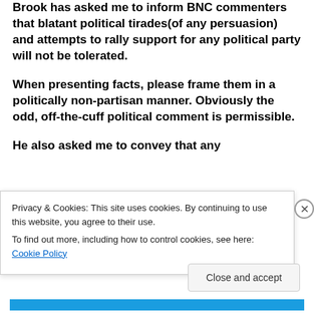Brook has asked me to inform BNC commenters that blatant political tirades(of any persuasion) and attempts to rally support for any political party will not be tolerated.
When presenting facts, please frame them in a politically non-partisan manner. Obviously the odd, off-the-cuff political comment is permissible.
He also asked me to convey that any
Privacy & Cookies: This site uses cookies. By continuing to use this website, you agree to their use.
To find out more, including how to control cookies, see here: Cookie Policy
Close and accept